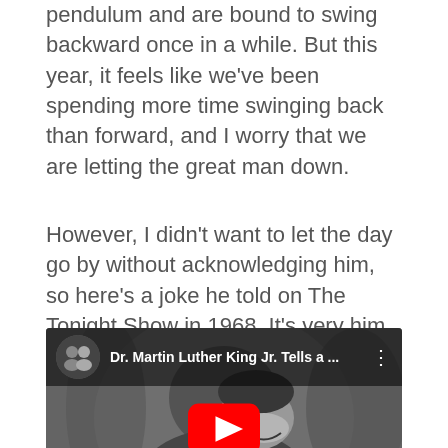pendulum and are bound to swing backward once in a while. But this year, it feels like we've been spending more time swinging back than forward, and I worry that we are letting the great man down.
However, I didn't want to let the day go by without acknowledging him, so here's a joke he told on The Tonight Show in 1968. It's very him.
[Figure (screenshot): Embedded YouTube video thumbnail showing Dr. Martin Luther King Jr. on The Tonight Show in black and white, with YouTube play button overlay and video title 'Dr. Martin Luther King Jr. Tells a ...']